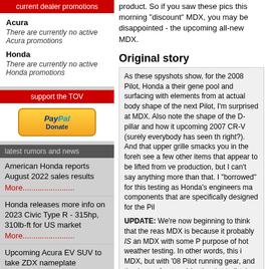current dealer promotions
Acura
There are currently no active Acura promotions
Honda
There are currently no active Honda promotions
support the TOV
[Figure (other): PayPal Donate button]
latest rumors and news
American Honda reports August 2022 sales results More......................
Honda releases more info on 2023 Civic Type R - 315hp, 310lb-ft for US market More......................
Upcoming Acura EV SUV to take ZDX nameplate More......................
Acura Precision EV Concept Debuts at Monterey, Previews Future Design Language for Electrified Era More......................
Honda Magazine: New Civic Type R Scheduled to be
product. So if you saw these pics this morning "discount" MDX, you may be disappointed - the upcoming all-new MDX.
Original story
As these spyshots show, for the 2008 Pilot, Honda a their gene pool and surfacing with elements from at actual body shape of the next Pilot, I'm surprised at MDX. Also note the shape of the D-pillar and how it upcoming 2007 CR-V (surely everybody has seen th right?). And that upper grille smacks you in the foreh see a few other items that appear to be lifted from ve production, but I can't say anything more than that. I "borrowed" for this testing as Honda's engineers ma components that are specifically designed for the Pil
UPDATE: We're now beginning to think that the reas MDX is because it probably IS an MDX with some P purpose of hot weather testing. In other words, this i MDX, but with '08 Pilot running gear, and they're tes front end (notice the trailer in tow).